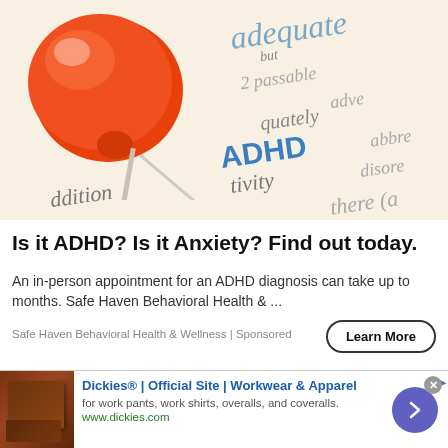[Figure (photo): Close-up photo of a red pushpin pressed into a dictionary page showing the word ADHD highlighted in blue, with other dictionary words visible including 'adequate', 'passable', 'addition', 'tivity', 'disord', 'there', 'adve', 'abbre']
Is it ADHD? Is it Anxiety? Find out today.
An in-person appointment for an ADHD diagnosis can take up to months. Safe Haven Behavioral Health & ...
Safe Haven Behavioral Health & Wellness | Sponsored
[Figure (photo): Small thumbnail image of brown leather work boots/shoes for Dickies ad]
Dickies® | Official Site | Workwear & Apparel
for work pants, work shirts, overalls, and coveralls.
www.dickies.com